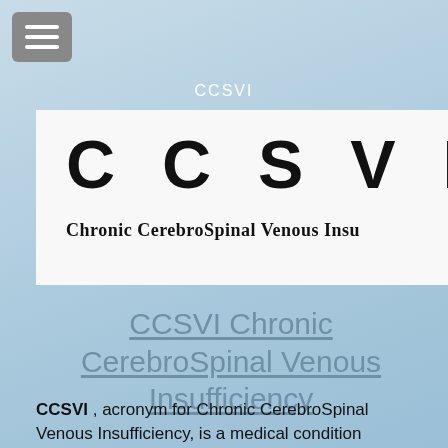[Figure (logo): Hamburger menu icon button (three horizontal white lines on grey rounded rectangle background)]
CCSVI
[Figure (illustration): White banner with large bold spaced letters 'CCSVI' and subtitle 'Chronic CerebroSpinal Venous Insu' (truncated)]
CCSVI Chronic CerebroSpinal Venous Insufficiency
CCSVI , acronym for Chronic CerebroSpinal Venous Insufficiency, is a medical condition